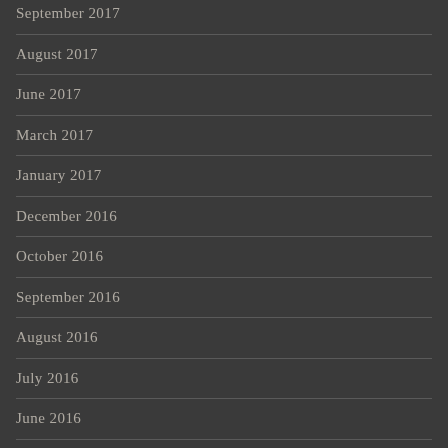September 2017
August 2017
June 2017
March 2017
January 2017
December 2016
October 2016
September 2016
August 2016
July 2016
June 2016
May 2016
March 2016